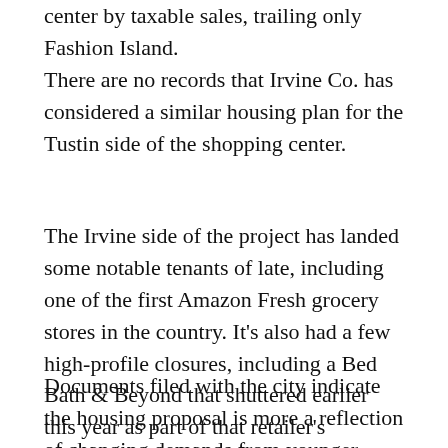center by taxable sales, trailing only Fashion Island.
There are no records that Irvine Co. has considered a similar housing plan for the Tustin side of the shopping center.
The Irvine side of the project has landed some notable tenants of late, including one of the first Amazon Fresh grocery stores in the country. It's also had a few high-profile closures, including a Bed Bath & Beyond that shuttered earlier this year as part of that retailer's retrenching.
Documents filed with the city indicate the housing proposal is more a reflection of changing demands from younger residents, than backfilling any empty